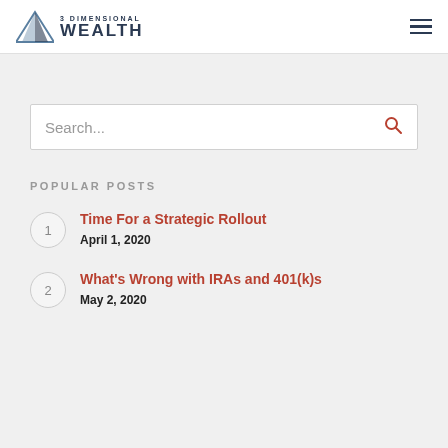3 Dimensional Wealth
Search...
POPULAR POSTS
Time For a Strategic Rollout — April 1, 2020
What's Wrong with IRAs and 401(k)s — May 2, 2020